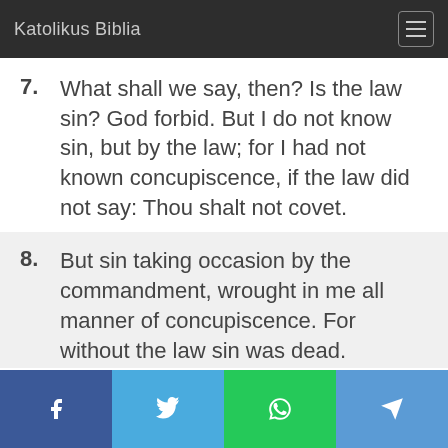Katolikus Biblia
7. What shall we say, then? Is the law sin? God forbid. But I do not know sin, but by the law; for I had not known concupiscence, if the law did not say: Thou shalt not covet.
8. But sin taking occasion by the commandment, wrought in me all manner of concupiscence. For without the law sin was dead.
Facebook Twitter WhatsApp Telegram